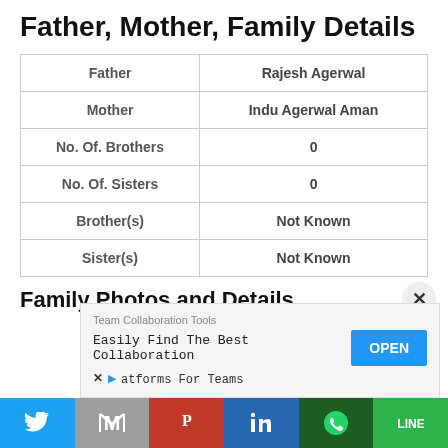Father, Mother, Family Details
|  |  |
| --- | --- |
| Father | Rajesh Agerwal |
| Mother | Indu Agerwal Aman |
| No. Of. Brothers | 0 |
| No. Of. Sisters | 0 |
| Brother(s) | Not Known |
| Sister(s) | Not Known |
Family Photos and Details
[Figure (other): Advertisement banner: Team Collaboration Tools - Easily Find The Best Collaboration Platforms For Teams - OPEN button]
[Figure (other): Social sharing bar with Twitter, Gmail, Pinterest, LinkedIn, WhatsApp, LINE buttons]